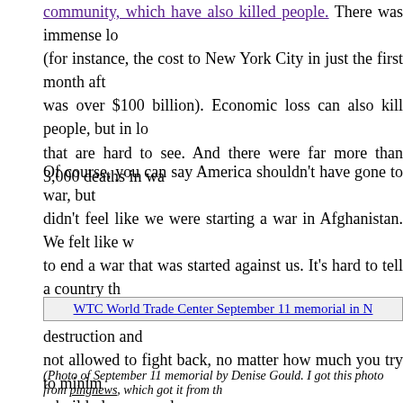…community, which have also killed people. There was immense loss (for instance, the cost to New York City in just the first month after was over $100 billion). Economic loss can also kill people, but in lo… that are hard to see. And there were far more than 3,000 deaths in wa…
Of course, you can say America shouldn't have gone to war, but… didn't feel like we were starting a war in Afghanistan. We felt like w… to end a war that was started against us. It's hard to tell a country th… attacked with intent to cause maximum death and destruction and … not allowed to fight back, no matter how much you try to minim… rebuild places you damage.
We should've done a lot of things differently. But after September 11… have just done nothing. That doesn't mean the something we di… right. No matter how much we've gotten it wrong in the past, we… trying to keep our country safe. We need to remember our history v… it define us.
[Figure (photo): WTC World Trade Center September 11 memorial in New York — broken image placeholder shown]
(Photo of September 11 memorial by Denise Gould. I got this photo from pingnews, which got it from th…